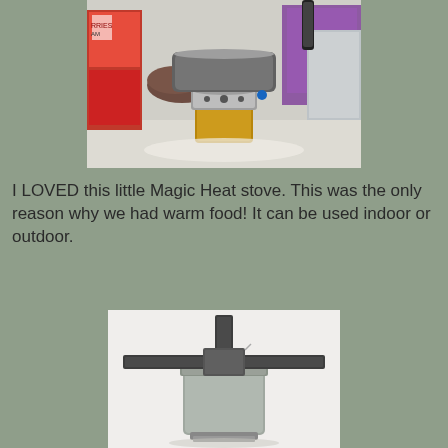[Figure (photo): A small Magic Heat stove with a metallic pot on top, surrounded by food packages and grocery items on a white surface.]
I LOVED this little Magic Heat stove. This was the only reason why we had warm food! It can be used indoor or outdoor.
[Figure (photo): A Magic Heat stove product photo showing the stove with metal fin radiators on top, on a white background.]